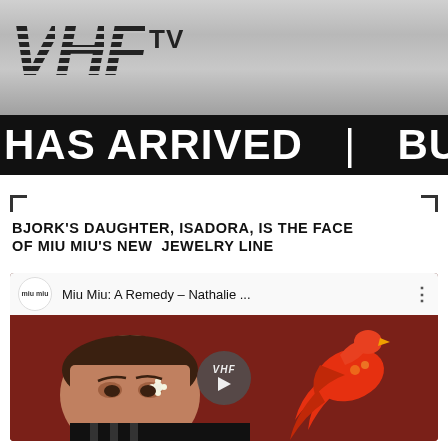[Figure (logo): VHF TV logo in striped/italic bold font on silver gradient background]
HAS ARRIVED | BU
BJORK'S DAUGHTER, ISADORA, IS THE FACE OF MIU MIU'S NEW JEWELRY LINE
[Figure (screenshot): YouTube-style video thumbnail for 'Miu Miu: A Remedy - Nathalie ...' showing a young person lying down with a red/orange decorative bird, with a VHF play button overlay]